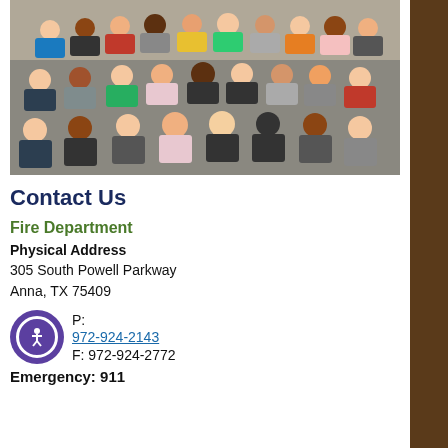[Figure (photo): Group photo of elementary school children seated on a gymnasium floor, viewed from above, approximately 30+ students smiling at the camera]
Contact Us
Fire Department
Physical Address
305 South Powell Parkway
Anna, TX 75409
P: 972-924-2143
F: 972-924-2772
Emergency: 911